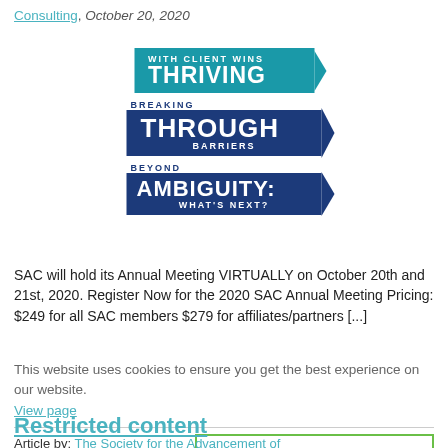Consulting, October 20, 2020
[Figure (logo): Three stacked promotional badges: 'THRIVING WITH CLIENT WINS' (teal), 'BREAKING THROUGH BARRIERS' (dark blue), 'BEYOND AMBIGUITY: WHAT'S NEXT?' (dark blue)]
SAC will hold its Annual Meeting VIRTUALLY on October 20th and 21st, 2020. Register Now for the 2020 SAC Annual Meeting Pricing: $249 for all SAC members $279 for affiliates/partners [...]
This website uses cookies to ensure you get the best experience on our website.
View page
Dismiss
Accept
Restricted content
Article by: The Society for the Advancement of